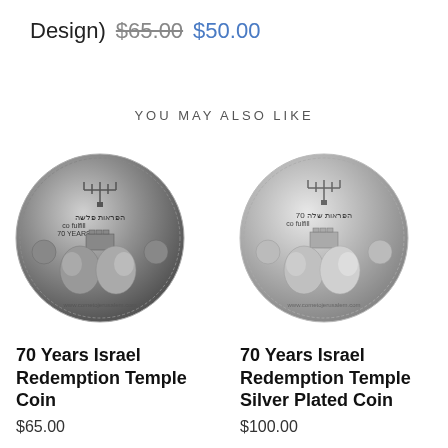Design) $65.00 $50.00
YOU MAY ALSO LIKE
[Figure (photo): Silver antique-finish coin featuring a menorah, Hebrew text, and two profile portraits — 70 Years Israel Redemption Temple Coin]
70 Years Israel Redemption Temple Coin
$65.00
[Figure (photo): Silver plated coin featuring a menorah, Hebrew text, and two profile portraits — 70 Years Israel Redemption Temple Silver Plated Coin]
70 Years Israel Redemption Temple Silver Plated Coin
$100.00